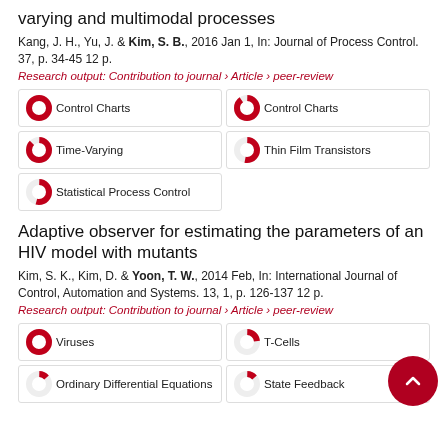varying and multimodal processes
Kang, J. H., Yu, J. & Kim, S. B., 2016 Jan 1, In: Journal of Process Control. 37, p. 34-45 12 p.
Research output: Contribution to journal › Article › peer-review
Control Charts (100%)
Control Charts (90%)
Time-Varying (87%)
Thin Film Transistors (53%)
Statistical Process Control (54%)
Adaptive observer for estimating the parameters of an HIV model with mutants
Kim, S. K., Kim, D. & Yoon, T. W., 2014 Feb, In: International Journal of Control, Automation and Systems. 13, 1, p. 126-137 12 p.
Research output: Contribution to journal › Article › peer-review
Viruses (100%)
T-Cells (23%)
Ordinary Differential Equations (13%)
State Feedback (13%)